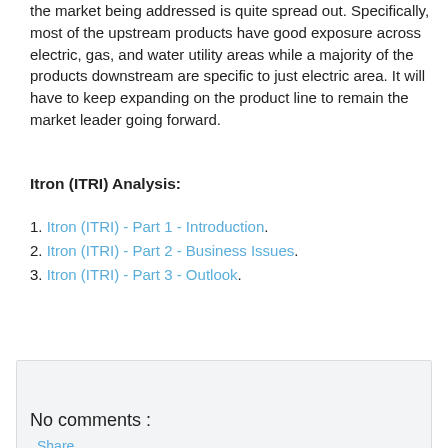the market being addressed is quite spread out. Specifically, most of the upstream products have good exposure across electric, gas, and water utility areas while a majority of the products downstream are specific to just electric area. It will have to keep expanding on the product line to remain the market leader going forward.
Itron (ITRI) Analysis:
1. Itron (ITRI) - Part 1 - Introduction.
2. Itron (ITRI) - Part 2 - Business Issues.
3. Itron (ITRI) - Part 3 - Outlook.
Share
No comments :